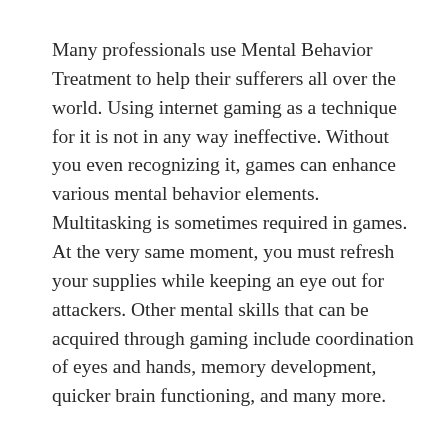Many professionals use Mental Behavior Treatment to help their sufferers all over the world. Using internet gaming as a technique for it is not in any way ineffective. Without you even recognizing it, games can enhance various mental behavior elements. Multitasking is sometimes required in games. At the very same moment, you must refresh your supplies while keeping an eye out for attackers. Other mental skills that can be acquired through gaming include coordination of eyes and hands, memory development, quicker brain functioning, and many more.